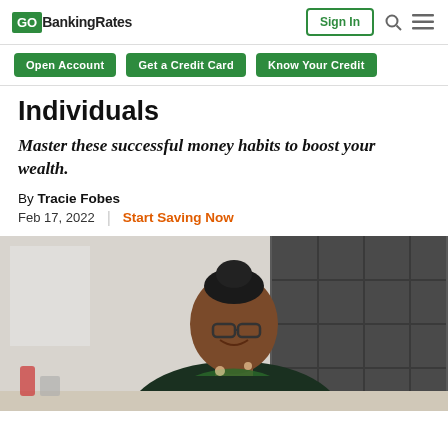GOBankingRates | Sign In
Open Account | Get a Credit Card | Know Your Credit
Individuals
Master these successful money habits to boost your wealth.
By Tracie Fobes
Feb 17, 2022 | Start Saving Now
[Figure (photo): A woman with glasses and braided hair in a bun smiling while working on a laptop in a kitchen setting with grey tile backsplash]